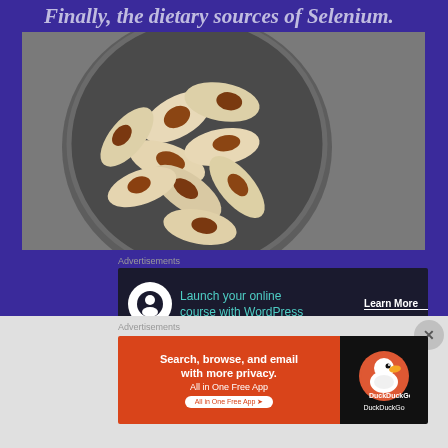Finally, the dietary sources of Selenium.
[Figure (photo): Overhead photo of a bowl filled with Brazil nuts on a gray background]
Advertisements
[Figure (other): Advertisement banner: Launch your online course with WordPress — Learn More]
REPORT THIS AD
Brazil nuts: The probably most selenium-rich diet...
Advertisements
[Figure (other): DuckDuckGo advertisement: Search, browse, and email with more privacy. All in One Free App]